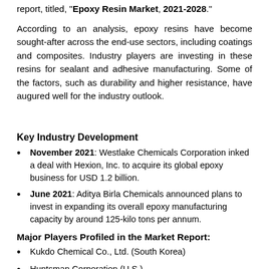report, titled, "Epoxy Resin Market, 2021-2028."
According to an analysis, epoxy resins have become sought-after across the end-use sectors, including coatings and composites. Industry players are investing in these resins for sealant and adhesive manufacturing. Some of the factors, such as durability and higher resistance, have augured well for the industry outlook.
Key Industry Development
November 2021: Westlake Chemicals Corporation inked a deal with Hexion, Inc. to acquire its global epoxy business for USD 1.2 billion.
June 2021: Aditya Birla Chemicals announced plans to invest in expanding its overall epoxy manufacturing capacity by around 125-kilo tons per annum.
Major Players Profiled in the Market Report:
Kukdo Chemical Co., Ltd. (South Korea)
Huntsman Corporation (U.S.)
Olin Corporation (U.S.)
Nan Ya Plastics Corporation (Taiwan)